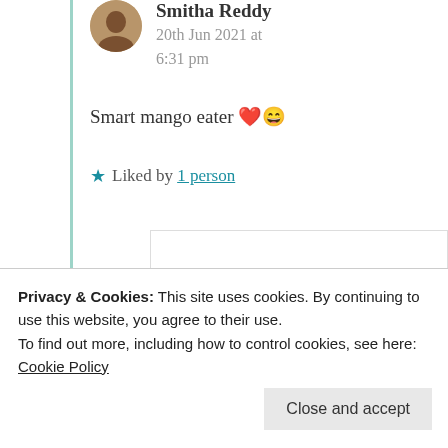Smitha Reddy
20th Jun 2021 at 6:31 pm
Smart mango eater ❤️😄
★ Liked by 1 person
Michele Lee
20th Jun 2021 at 7:04 pm
Privacy & Cookies: This site uses cookies. By continuing to use this website, you agree to their use. To find out more, including how to control cookies, see here: Cookie Policy
Close and accept
Advertisements